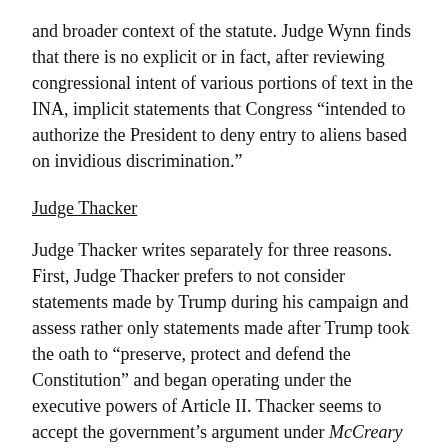and broader context of the statute. Judge Wynn finds that there is no explicit or in fact, after reviewing congressional intent of various portions of text in the INA, implicit statements that Congress “intended to authorize the President to deny entry to aliens based on invidious discrimination.”
Judge Thacker
Judge Thacker writes separately for three reasons. First, Judge Thacker prefers to not consider statements made by Trump during his campaign and assess rather only statements made after Trump took the oath to “preserve, protect and defend the Constitution” and began operating under the executive powers of Article II. Thacker seems to accept the government’s argument under McCreary that the oath of office is a “profound transition.”
Second, though not that Trump’s campaign...